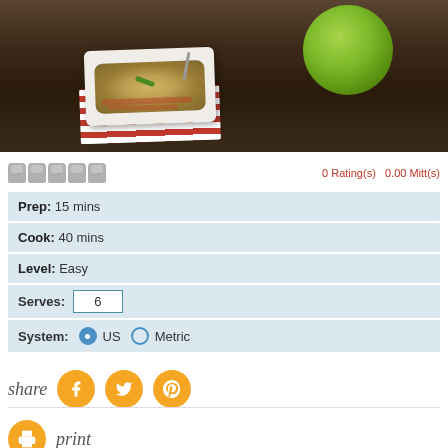[Figure (photo): Food photo showing a plate of potato dish with bacon on a red and white checkered napkin, with a green round bowl/pot in the background, on a dark wooden surface]
0 Rating(s)  0.00 Mitt(s)
Prep: 15 mins
Cook: 40 mins
Level: Easy
Serves: 6
System: US  Metric
share
print